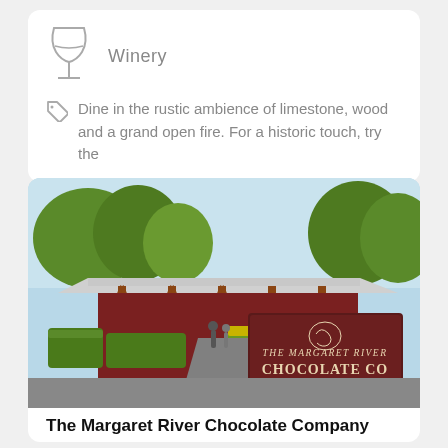[Figure (illustration): Wine glass icon]
Winery
Dine in the rustic ambience of limestone, wood and a grand open fire. For a historic touch, try the
[Figure (photo): Exterior photo of The Margaret River Chocolate Co building with a large dark red sign, people walking along a path lined with green hedges and trees on a sunny day.]
The Margaret River Chocolate Company